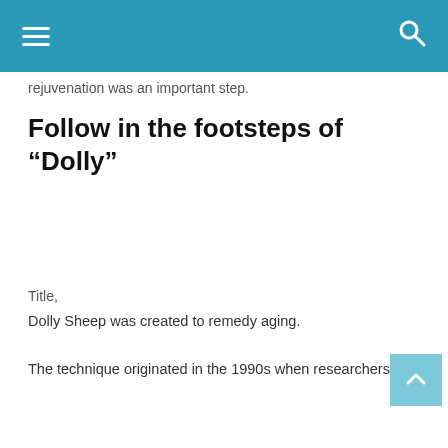rejuvenation was an important step.
Follow in the footsteps of “Dolly”
Title,
Dolly Sheep was created to remedy aging.
The technique originated in the 1990s when researchers